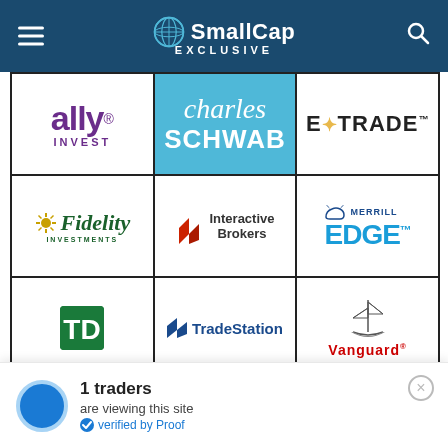SmallCap EXCLUSIVE
[Figure (logo): Grid of broker/financial platform logos: Ally Invest, Charles Schwab, E*TRADE, Fidelity Investments, Interactive Brokers, Merrill Edge, TD (Ameritrade), TradeStation, Vanguard]
1 traders are viewing this site verified by Proof